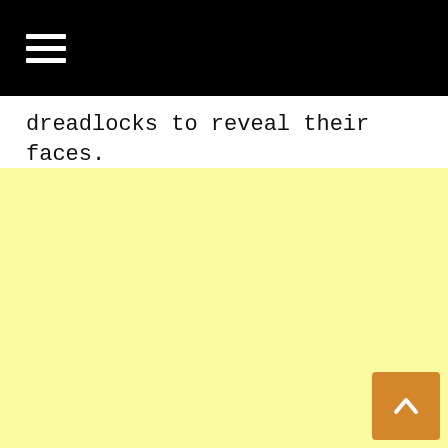☰
dreadlocks to reveal their faces.